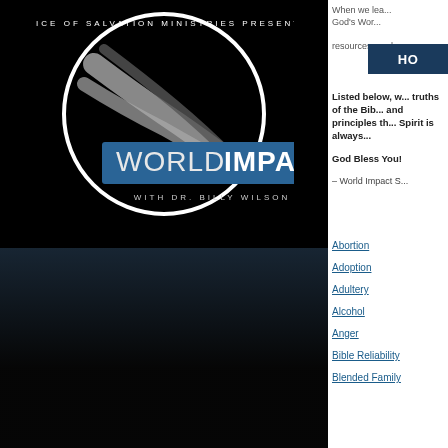[Figure (logo): World Impact with Dr. Billy Wilson logo - Voice of Salvation Ministries Presents. Black background with circular logo and blue banner.]
[Figure (photo): Dark landscape photo at bottom left, appears to show trees or silhouettes against a dark sky.]
When we lea... God's Wor... resources can b...
HO
Listed below, we... truths of the Bib... and principles th... Spirit is always...
God Bless You!
– World Impact S...
Abortion
Adoption
Adultery
Alcohol
Anger
Bible Reliability
Blended Family